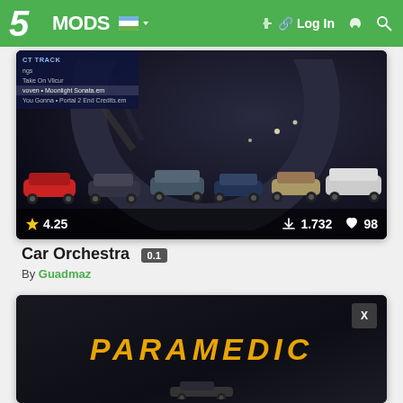5MODS — Log In
[Figure (screenshot): Dark interior garage scene showing multiple parked cars (red, blue, white, tan, SUV) arranged in a row inside an arched building. Overlay menu on top-left showing track list options. Stats bar at bottom shows rating 4.25, downloads 1.732, likes 98.]
Car Orchestra
By Guadmaz
[Figure (screenshot): Dark scene with large yellow bold italic text reading PARAMEDIC. A grey X button in the top right. A car silhouette at the bottom center.]